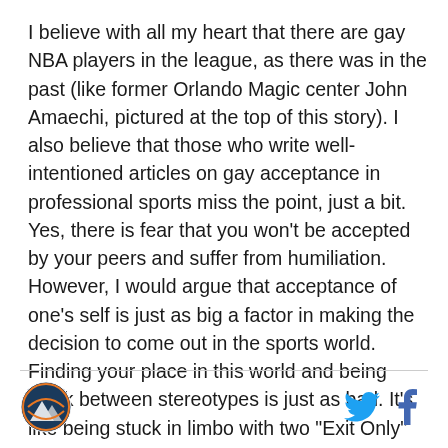I believe with all my heart that there are gay NBA players in the league, as there was in the past (like former Orlando Magic center John Amaechi, pictured at the top of this story). I also believe that those who write well-intentioned articles on gay acceptance in professional sports miss the point, just a bit. Yes, there is fear that you won't be accepted by your peers and suffer from humiliation. However, I would argue that acceptance of one's self is just as big a factor in making the decision to come out in the sports world. Finding your place in this world and being stuck between stereotypes is just as bad. It's like being stuck in limbo with two "Exit Only" signs. You can't move.
[Figure (logo): Circular sports logo with basketball and mountain imagery]
[Figure (logo): Twitter bird icon in blue]
[Figure (logo): Facebook f icon in blue]